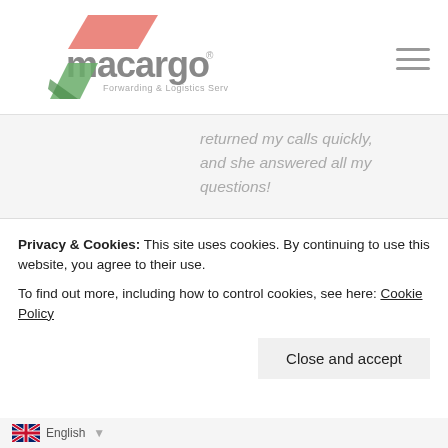[Figure (logo): Macargo Forwarding & Logistics Services logo with red/pink and green diagonal shapes]
returned my calls quickly, and she answered all my questions!
In latest round, the Pirelli Spanish Round on 19 and 20 September, the Apria team booked great results with two riders on the
Privacy & Cookies: This site uses cookies. By continuing to use this website, you agree to their use.
To find out more, including how to control cookies, see here: Cookie Policy
Close and accept
world champion